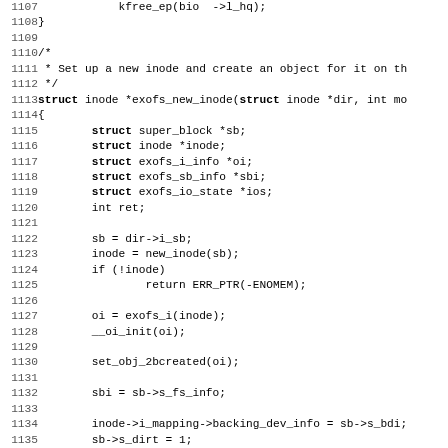[Figure (screenshot): Source code listing in C showing lines 1107-1139 of a file implementing exofs_new_inode function, displayed in monospace font on white background with line numbers on the left.]